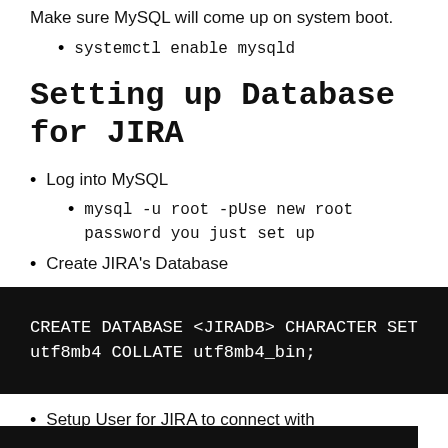Make sure MySQL will come up on system boot.
systemctl enable mysqld
Setting up Database for JIRA
Log into MySQL
mysql -u root -pUse new root password you just set up
Create JIRA's Database
CREATE DATABASE <JIRADB> CHARACTER SET utf8mb4 COLLATE utf8mb4_bin;
Setup User for JIRA to connect with